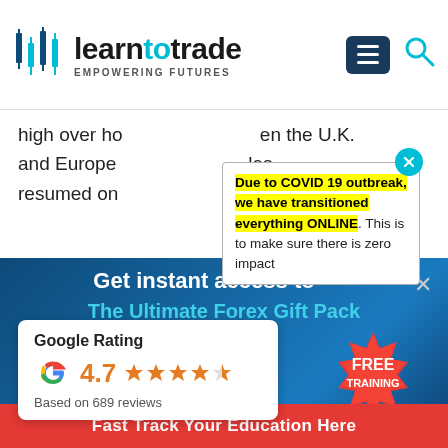[Figure (screenshot): Learn to Trade website screenshot with logo showing candlestick chart icon, 'learntotrade' text in dark/teal, tagline 'EMPOWERING FUTURES', hamburger menu button, and search icon]
high over ho... en the U.K. and Europe... les resumed or...
Due to COVID 19 outbreak, we have transitioned everything ONLINE. This is to make sure there is zero impact
Get instant access to
The Ultimate Forex Gift Pack
[Figure (photo): Wealth Secrets book/DVD product bundle and FX Seminar tickets promotional image]
[Figure (infographic): Red starburst badge reading FREE TRAINING]
Google Rating
4.7
Based on 689 reviews
Fast Track Your Education Here